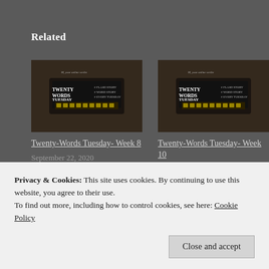Related
[Figure (photo): Twenty Words Tuesday typewriter blog post thumbnail image]
Twenty-Words Tuesday- Week 8
September 22, 2020
In "TWT"
[Figure (photo): Twenty Words Tuesday typewriter blog post thumbnail image]
Twenty-Words Tuesday- Week 10
October 6, 2020
In "TWT"
[Figure (photo): Partial thumbnail image visible at bottom]
October 13, 2020
Privacy & Cookies: This site uses cookies. By continuing to use this website, you agree to their use.
To find out more, including how to control cookies, see here: Cookie Policy
Close and accept